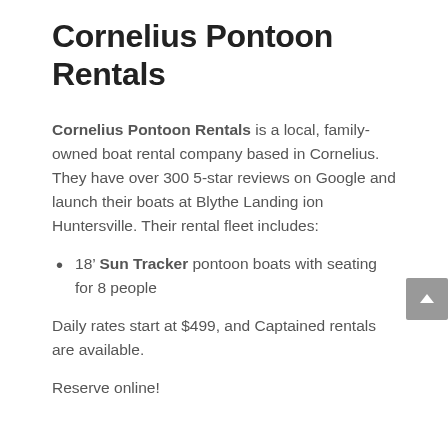Cornelius Pontoon Rentals
Cornelius Pontoon Rentals is a local, family-owned boat rental company based in Cornelius. They have over 300 5-star reviews on Google and launch their boats at Blythe Landing ion Huntersville. Their rental fleet includes:
18’ Sun Tracker pontoon boats with seating for 8 people
Daily rates start at $499, and Captained rentals are available.
Reserve online!